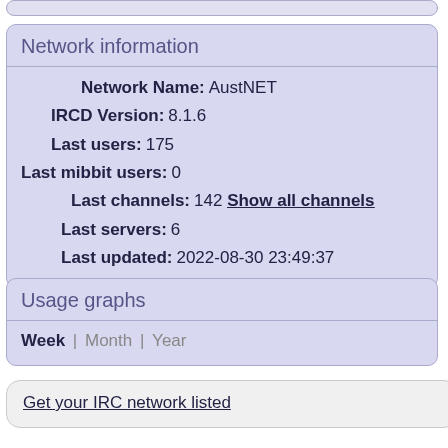Network information
Network Name: AustNET
IRCD Version: 8.1.6
Last users: 175
Last mibbit users: 0
Last channels: 142 Show all channels
Last servers: 6
Last updated: 2022-08-30 23:49:37
Usage graphs
Week | Month | Year
Get your IRC network listed